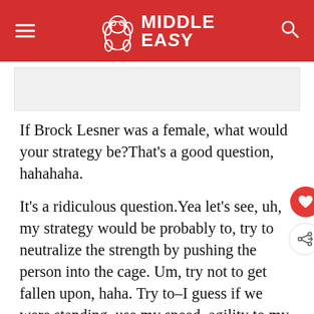MIDDLE EASY
[Figure (other): Advertisement placeholder banner]
If Brock Lesner was a female, what would your strategy be?That's a good question, hahahaha.
It's a ridiculous question.Yea let's see, uh, my strategy would be probably to, try to neutralize the strength by pushing the person into the cage. Um, try not to get fallen upon, haha. Try to–I guess if we were standing, use my speed, agility to my advantage and maybe pick them much as I could, make them tired, tire them out I